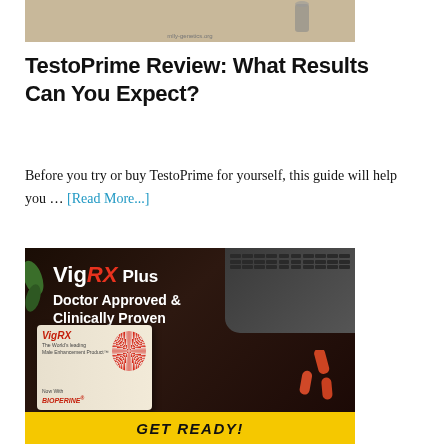[Figure (photo): Product image on a light background with watermark mlly-genetics.org]
TestoPrime Review: What Results Can You Expect?
Before you try or buy TestoPrime for yourself, this guide will help you … [Read More...]
[Figure (photo): VigRX Plus advertisement banner. Text reads: VigRX Plus Doctor Approved & Clinically Proven. Product box shown with Now With BIOPERINE label. Red pills visible. Yellow GET READY! button at bottom. Background is dark brown with laptop keyboard visible.]